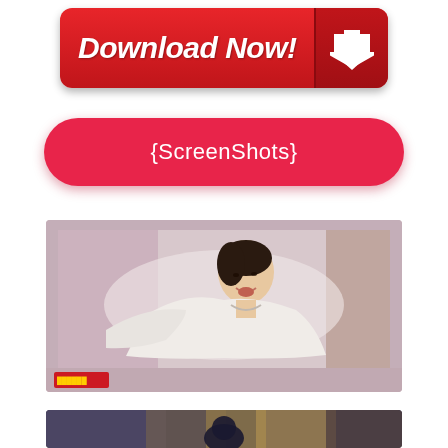[Figure (other): Red download button with white bold italic text 'Download Now!' and a white downward arrow icon on the right side]
[Figure (other): Pink/red rounded pill-shaped button with white text '{ScreenShots}']
[Figure (screenshot): Movie screenshot showing an Asian woman in white traditional clothing, expression of distress or effort, leaning forward. Small watermark text in bottom left corner.]
[Figure (screenshot): Partial movie screenshot at bottom showing dark scene with golden/amber tones]